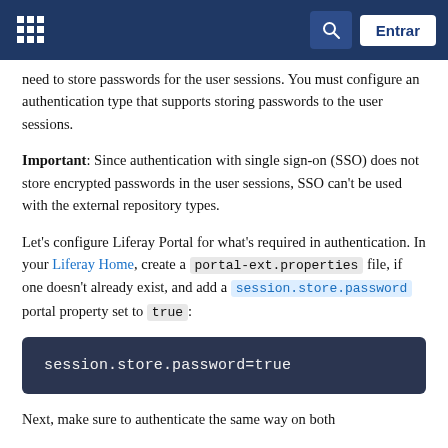Liferay Portal navigation bar with logo, search, and Entrar button
need to store passwords for the user sessions. You must configure an authentication type that supports storing passwords to the user sessions.
Important: Since authentication with single sign-on (SSO) does not store encrypted passwords in the user sessions, SSO can't be used with the external repository types.
Let's configure Liferay Portal for what's required in authentication. In your Liferay Home, create a portal-ext.properties file, if one doesn't already exist, and add a session.store.password portal property set to true:
[Figure (screenshot): Dark code block showing: session.store.password=true]
Next, make sure to authenticate the same way on both